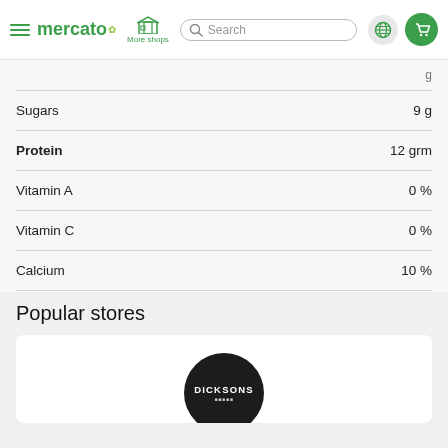mercato — More shops — Search — Globe — Cart
| Nutrient | Amount |
| --- | --- |
| Sugars | 9 g |
| Protein | 12 grm |
| Vitamin A | 0 % |
| Vitamin C | 0 % |
| Calcium | 10 % |
| Iron | 0 % |
Popular stores
[Figure (logo): Dicksons store logo — dark circular badge with DICKSONS text in white]